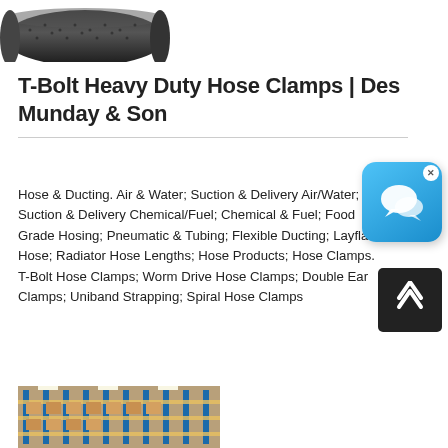[Figure (photo): Black industrial rubber hose / ducting roll shown diagonally, partially cropped at top of page]
T-Bolt Heavy Duty Hose Clamps | Des Munday & Son
Hose & Ducting. Air & Water; Suction & Delivery Air/Water; Suction & Delivery Chemical/Fuel; Chemical & Fuel; Food Grade Hosing; Pneumatic & Tubing; Flexible Ducting; Layflat Hose; Radiator Hose Lengths; Hose Products; Hose Clamps. T-Bolt Hose Clamps; Worm Drive Hose Clamps; Double Ear Clamps; Uniband Strapping; Spiral Hose Clamps
[Figure (photo): Warehouse interior showing shelving racks with industrial products, partially cropped at bottom of page]